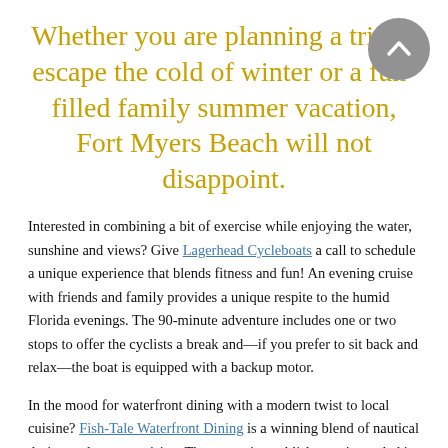Whether you are planning a trip to escape the cold of winter or a fun-filled family summer vacation, Fort Myers Beach will not disappoint.
Interested in combining a bit of exercise while enjoying the water, sunshine and views? Give Lagerhead Cycleboats a call to schedule a unique experience that blends fitness and fun! An evening cruise with friends and family provides a unique respite to the humid Florida evenings. The 90-minute adventure includes one or two stops to offer the cyclists a break and—if you prefer to sit back and relax—the boat is equipped with a backup motor.
In the mood for waterfront dining with a modern twist to local cuisine? Fish-Tale Waterfront Dining is a winning blend of nautical design and savory cuisine. The open-air establishment is nestled in a family-owned marina and proudly